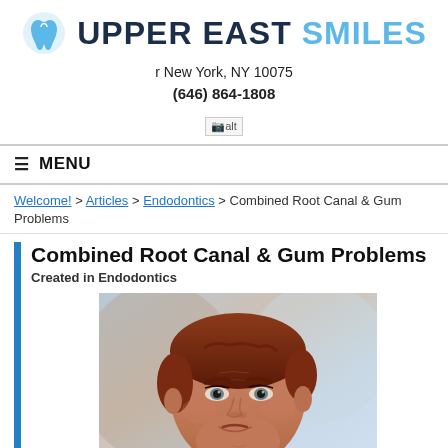[Figure (logo): Upper East Smiles dental clinic logo with tooth icon in blue]
r New York, NY 10075
(646) 864-1808
[Figure (other): Broken image placeholder showing alt text]
≡ MENU
Welcome! > Articles > Endodontics > Combined Root Canal & Gum Problems
Combined Root Canal & Gum Problems
Created in Endodontics
[Figure (photo): Close-up photo of a middle-aged man with reddish-brown hair looking slightly concerned]